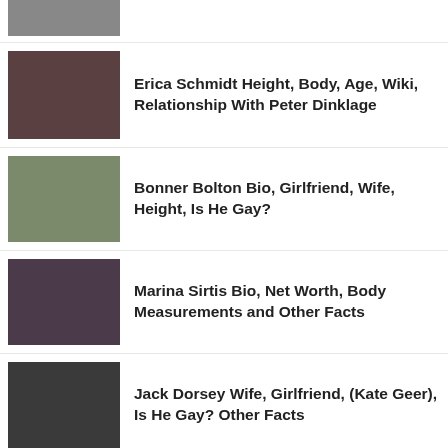[Figure (photo): Partial photo of a person at top of page, cropped]
[Figure (photo): Photo of Erica Schmidt]
Erica Schmidt Height, Body, Age, Wiki, Relationship With Peter Dinklage
[Figure (photo): Photo of Bonner Bolton wearing cowboy hat]
Bonner Bolton Bio, Girlfriend, Wife, Height, Is He Gay?
[Figure (photo): Photo of Marina Sirtis]
Marina Sirtis Bio, Net Worth, Body Measurements and Other Facts
[Figure (photo): Photo of Jack Dorsey]
Jack Dorsey Wife, Girlfriend, (Kate Geer), Is He Gay? Other Facts
[Figure (photo): Photo of Jalen Brunson, partially visible]
Jalen Brunson Dad, Family, Height, Weight,